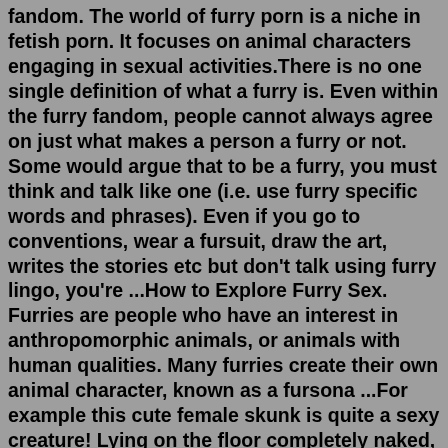fandom. The world of furry porn is a niche in fetish porn. It focuses on animal characters engaging in sexual activities.There is no one single definition of what a furry is. Even within the furry fandom, people cannot always agree on just what makes a person a furry or not. Some would argue that to be a furry, you must think and talk like one (i.e. use furry specific words and phrases). Even if you go to conventions, wear a fursuit, draw the art, writes the stories etc but don't talk using furry lingo, you're ...How to Explore Furry Sex. Furries are people who have an interest in anthropomorphic animals, or animals with human qualities. Many furries create their own animal character, known as a fursona ...For example this cute female skunk is quite a sexy creature! Lying on the floor completely naked, she sucks and licks a dildo, massaging her red clit with her hand at the same time. Her furry pussy is so wet already, and the hot jizz spout on the floor, making it slippery. Look at the smile on her face – she's so lustful and horny right